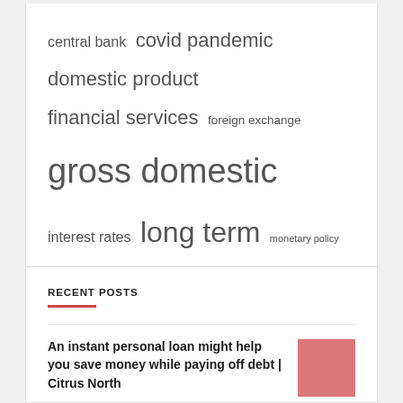[Figure (other): Tag cloud of finance-related terms with varying font sizes indicating frequency: central bank, covid pandemic, domestic product, financial services, foreign exchange, gross domestic, interest rates, long term, monetary policy, real estate, short term, supply hyperlink, united states, vice president, wire transfer]
RECENT POSTS
An instant personal loan might help you save money while paying off debt | Citrus North